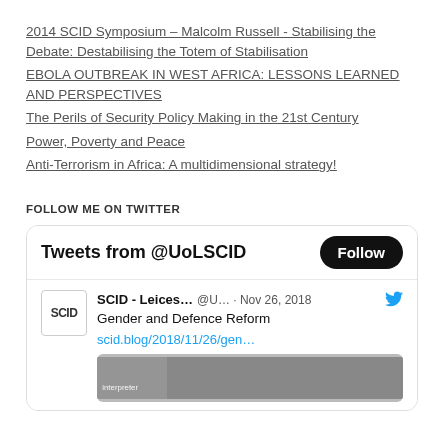2014 SCID Symposium – Malcolm Russell - Stabilising the Debate: Destabilising the Totem of Stabilisation
EBOLA OUTBREAK IN WEST AFRICA: LESSONS LEARNED AND PERSPECTIVES
The Perils of Security Policy Making in the 21st Century
Power, Poverty and Peace
Anti-Terrorism in Africa: A multidimensional strategy!
FOLLOW ME ON TWITTER
[Figure (screenshot): Twitter widget showing 'Tweets from @UoLSCID' with a Follow button, and a tweet from SCID - Leices... @U... Nov 26, 2018 about 'Gender and Defence Reform' with link scid.blog/2018/11/26/gen... and a partial image below.]